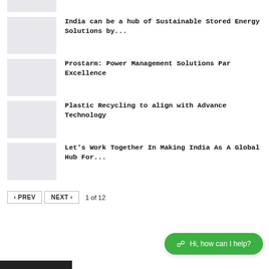[Figure (photo): Thumbnail image placeholder (light gray box) at top]
India can be a hub of Sustainable Stored Energy Solutions by...
Prostarm: Power Management Solutions Par Excellence
Plastic Recycling to align with Advance Technology
Let's Work Together In Making India As A Global Hub For...
< PREV   NEXT >   1 of 12
Hi, how can I help?